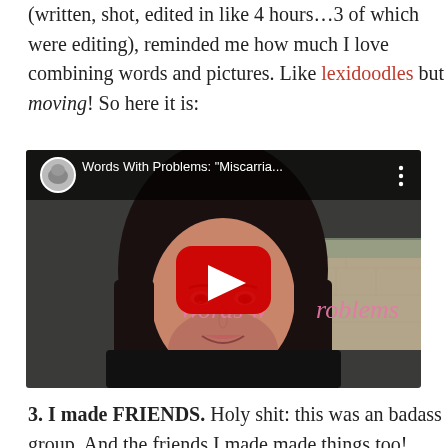(written, shot, edited in like 4 hours…3 of which were editing), reminded me how much I love combining words and pictures. Like lexidoodles but moving! So here it is:
[Figure (screenshot): YouTube video thumbnail showing a woman smiling at camera, with video title 'Words With Problems: "Miscarria…' visible in top bar, overlay text 'Words with Problems' in pink italic, and a red YouTube play button in the center.]
3. I made FRIENDS. Holy shit: this was an badass group. And the friends I made made things too! They made op-eds that got published in fancy places: Easy Change Could Improve College Racial Equity;  Ending the